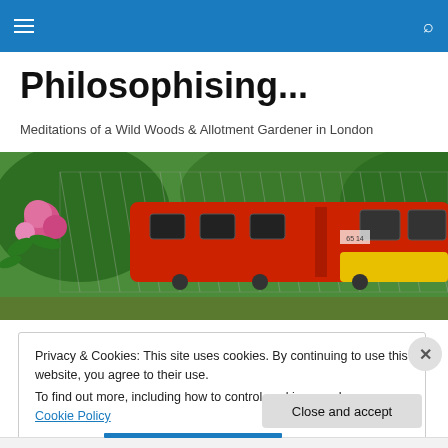Navigation bar with hamburger menu and search icon
Philosophising...
Meditations of a Wild Woods & Allotment Gardener in London
[Figure (photo): Photo of a red and yellow train behind a chain-link fence with pink roses and green plants in the foreground]
Privacy & Cookies: This site uses cookies. By continuing to use this website, you agree to their use.
To find out more, including how to control cookies, see here: Cookie Policy
Close and accept